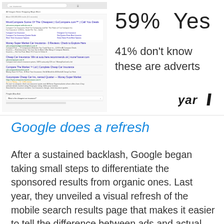[Figure (screenshot): Screenshot of Google search results page showing car insurance ads]
59% Yes
41% don't know these are adverts
[Figure (logo): Yard logo in bold italic text]
Google does a refresh
After a sustained backlash, Google began taking small steps to differentiate the sponsored results from organic ones. Last year, they unveiled a visual refresh of the mobile search results page that makes it easier to tell the difference between ads and actual search results.